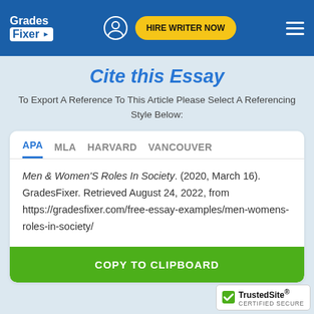[Figure (logo): GradesFixer logo and navigation bar with user icon, HIRE WRITER NOW button, and hamburger menu]
Cite this Essay
To Export A Reference To This Article Please Select A Referencing Style Below:
APA  MLA  HARVARD  VANCOUVER
Men & Women'S Roles In Society. (2020, March 16). GradesFixer. Retrieved August 24, 2022, from https://gradesfixer.com/free-essay-examples/men-womens-roles-in-society/
COPY TO CLIPBOARD
[Figure (logo): TrustedSite certified secure badge]